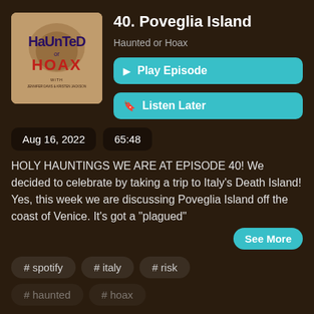[Figure (illustration): Podcast album art for 'Haunted or Hoax' showing stylized text on a distressed beige/brown background with 'HaUnTeD or HOAX WITH JENNIFER DAVIS & KRISTEN JACKETS' text]
40. Poveglia Island
Haunted or Hoax
Play Episode
Listen Later
Aug 16, 2022
65:48
HOLY HAUNTINGS WE ARE AT EPISODE 40! We decided to celebrate by taking a trip to Italy's Death Island! Yes, this week we are discussing Poveglia Island off the coast of Venice. It's got a "plagued"
See More
# spotify
# italy
# risk